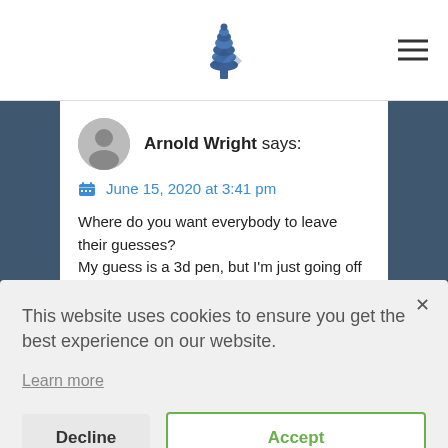[Figure (logo): Pine cone / tree logo in blue at top center]
Arnold Wright says:
June 15, 2020 at 3:41 pm
Where do you want everybody to leave their guesses?
My guess is a 3d pen, but I'm just going off of the temperature clues.
This website uses cookies to ensure you get the best experience on our website.
Learn more
Decline
Accept
going up, and now I'm finding out they went up 5 days ago with no notification and are already